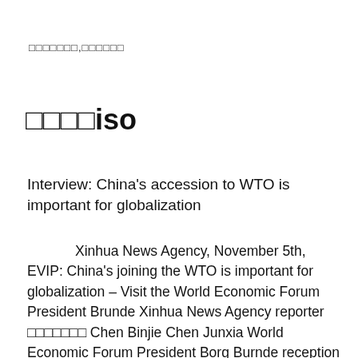□□□□□□□,□□□□□□
□□□□iso
Interview: China's accession to WTO is important for globalization
Xinhua News Agency, November 5th, EVIP: China's joining the WTO is important for globalization – Visit the World Economic Forum President Brunde Xinhua News Agency reporter □□□□□□□ Chen Binjie Chen Junxia World Economic Forum President Borg Burnde reception in Switzerland In an interview with Xinhua News Agency,